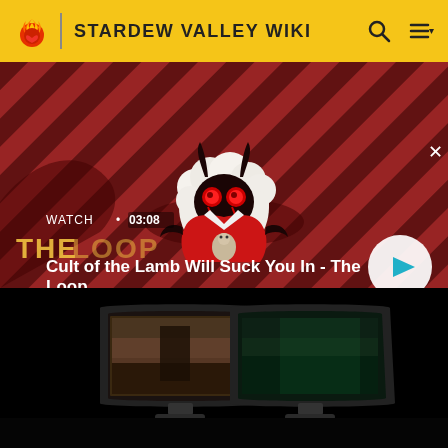STARDEW VALLEY WIKI
[Figure (screenshot): Video thumbnail for 'Cult of the Lamb Will Suck You In - The Loop' showing a cartoon lamb character in a red outfit with horns against a diagonal striped red and dark background. Text overlay shows 'WATCH · 03:08' and title 'Cult of the Lamb Will Suck You In - The Loop' with a white play button circle on the right.]
[Figure (screenshot): Advertisement banner showing two curved gaming monitors side by side on a black background, displaying game footage.]